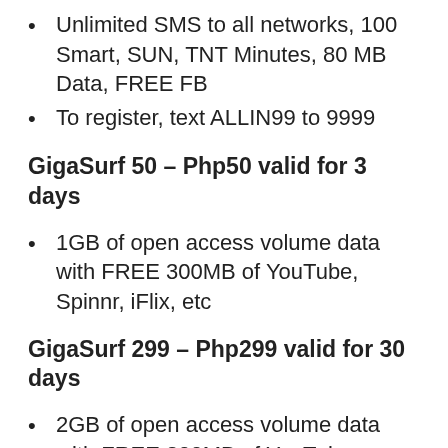Unlimited SMS to all networks, 100 Smart, SUN, TNT Minutes, 80 MB Data, FREE FB
To register, text ALLIN99 to 9999
GigaSurf 50 – Php50 valid for 3 days
1GB of open access volume data with FREE 300MB of YouTube, Spinnr, iFlix, etc
GigaSurf 299 – Php299 valid for 30 days
2GB of open access volume data with FREE 300MB of YouTube, Spinnr, iFlix, etc
*To register Smart GigaSurf promo, text GIGA(amount) and send to 9999 – Ex. GIGA299 and send it to 9999